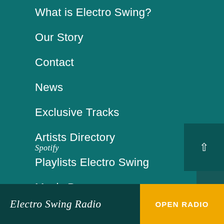What is Electro Swing?
Our Story
Contact
News
Exclusive Tracks
Artists Directory
Playlists Electro Swing
Music Box
Spotify
Electro Swing Radio
OPEN RADIO